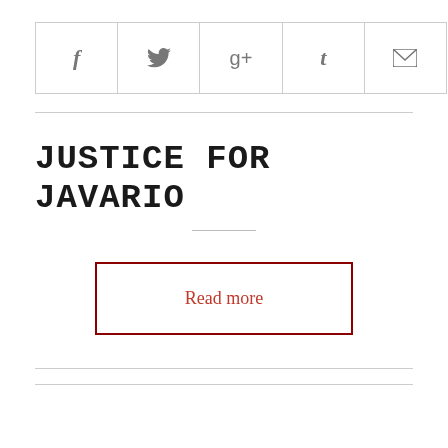[Figure (other): Social share bar with icons for Facebook (f), Twitter (bird), Google+ (g+), Tumblr (t), and Email (envelope)]
JUSTICE FOR JAVARIO
Read more